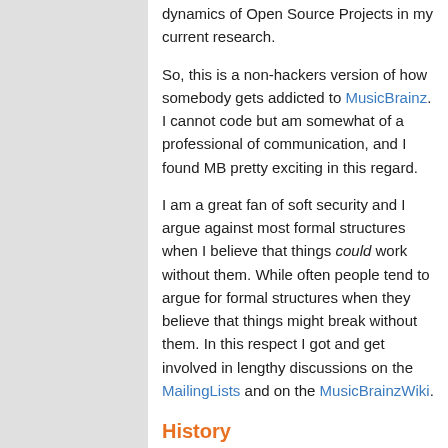dynamics of Open Source Projects in my current research.
So, this is a non-hackers version of how somebody gets addicted to MusicBrainz. I cannot code but am somewhat of a professional of communication, and I found MB pretty exciting in this regard.
I am a great fan of soft security and I argue against most formal structures when I believe that things could work without them. While often people tend to argue for formal structures when they believe that things might break without them. In this respect I got and get involved in lengthy discussions on the MailingLists and on the MusicBrainzWiki.
History
This is usually hopelessly out of date. But these are the bigger projects I have been involved here (For a more up to date list, just look for my name on RecentChanges)
I want to set up an issue tracker for